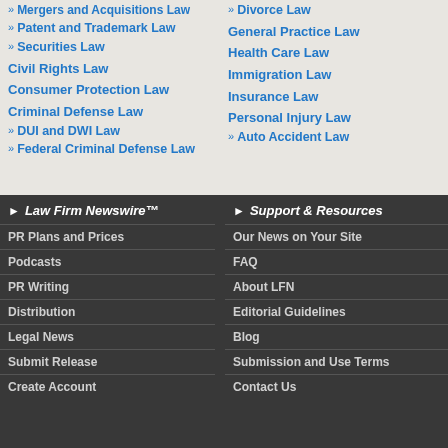» Mergers and Acquisitions Law
» Patent and Trademark Law
» Securities Law
Civil Rights Law
Consumer Protection Law
Criminal Defense Law
» DUI and DWI Law
» Federal Criminal Defense Law
» Divorce Law
General Practice Law
Health Care Law
Immigration Law
Insurance Law
Personal Injury Law
» Auto Accident Law
▶ Law Firm Newswire™
PR Plans and Prices
Podcasts
PR Writing
Distribution
Legal News
Submit Release
Create Account
▶ Support & Resources
Our News on Your Site
FAQ
About LFN
Editorial Guidelines
Blog
Submission and Use Terms
Contact Us